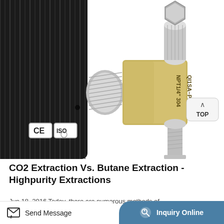[Figure (photo): Close-up photograph of a stainless steel needle valve/fitting assembly with a black knurled dial wheel on the left. The valve body is engraved with 'QI1SA-PN6.4' and 'NPT1/4" 304'. CE and ISO certification badges are visible in the lower left of the photo. A 'TOP' navigation button appears in the lower right of the image.]
CO2 Extraction Vs. Butane Extraction - Highpurity Extractions
Jun 18, 2016 Today, there are numerous methods of
Send Message
Inquiry Online